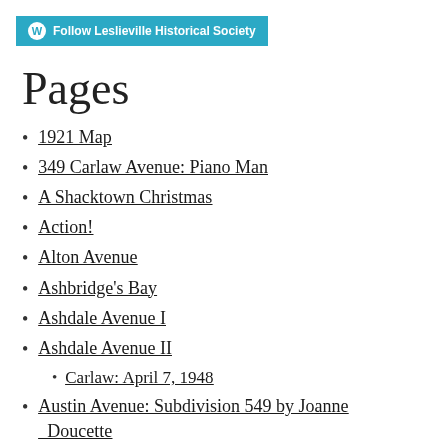Follow Leslieville Historical Society
Pages
1921 Map
349 Carlaw Avenue: Piano Man
A Shacktown Christmas
Action!
Alton Avenue
Ashbridge's Bay
Ashdale Avenue I
Ashdale Avenue II
Carlaw: April 7, 1948
Austin Avenue: Subdivision 549 by Joanne Doucette